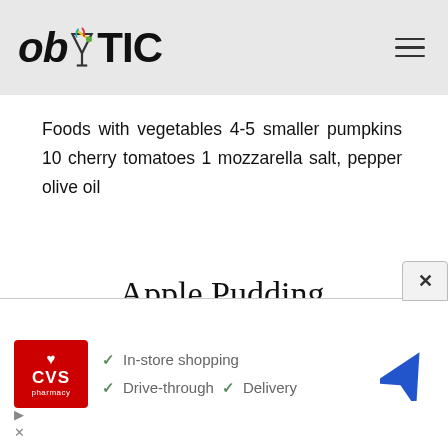obYTIC
Foods with vegetables 4-5 smaller pumpkins 10 cherry tomatoes 1 mozzarella salt, pepper olive oil
Apple Pudding
Sweets, Pudding 170g butter 8 apples, peeled, pitted, cut into pieces 60ml brandy 10 eggs 110g powdered sugar 1 teaspoon vanilla essence 400ml sour
[Figure (screenshot): CVS Pharmacy advertisement banner showing logo, checkmarks for In-store shopping, Drive-through, and Delivery, and a navigation icon]